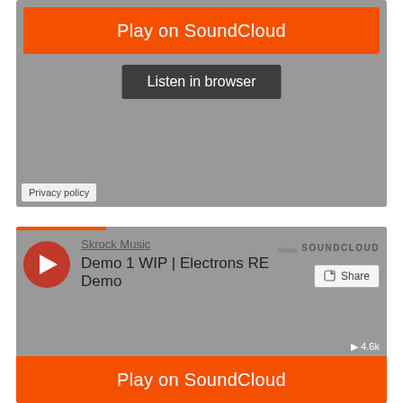[Figure (screenshot): SoundCloud embedded player widget (top) showing 'Play on SoundCloud' orange button and 'Listen in browser' dark button on grey background with 'Privacy policy' label at bottom left]
[Figure (screenshot): SoundCloud embedded player widget (bottom) showing Skrock Music - Demo 1 WIP | Electrons RE Demo with play button, SoundCloud logo, Share button, and orange 'Play on SoundCloud' button at bottom]